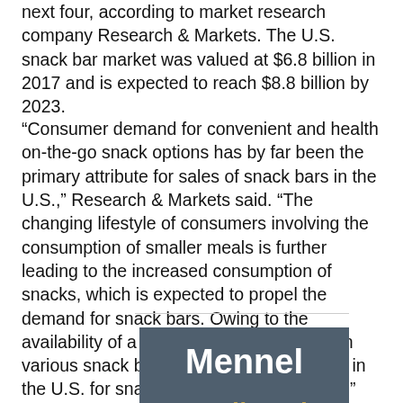next four, according to market research company Research & Markets. The U.S. snack bar market was valued at $6.8 billion in 2017 and is expected to reach $8.8 billion by 2023.
“Consumer demand for convenient and health on-the-go snack options has by far been the primary attribute for sales of snack bars in the U.S.,” Research & Markets said. “The changing lifestyle of consumers involving the consumption of smaller meals is further leading to the increased consumption of snacks, which is expected to propel the demand for snack bars. Owing to the availability of a wide range of flavors within various snack bar categories, the demand in the U.S. for snack bars grew considerably.”
[Figure (logo): Mennel brand advertisement box with dark slate background, bold white 'Mennel' text, a gold horizontal rule, and gold italic 'Small Pack' text below.]